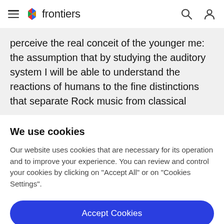frontiers
perceive the real conceit of the younger me: the assumption that by studying the auditory system I will be able to understand the reactions of humans to the fine distinctions that separate Rock music from classical
We use cookies
Our website uses cookies that are necessary for its operation and to improve your experience. You can review and control your cookies by clicking on "Accept All" or on "Cookies Settings".
Accept Cookies
Cookies Settings